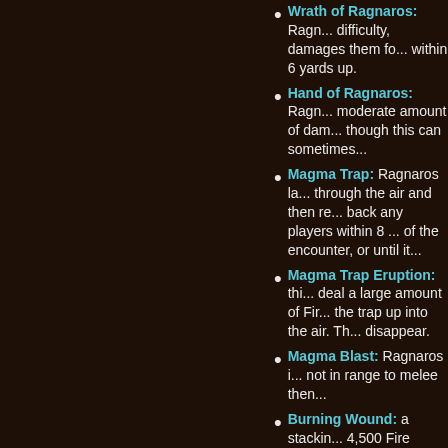Wrath of Ragnaros: Ragnaros... difficulty, damages them fo... within 6 yards up.
Hand of Ragnaros: Ragnaros... moderate amount of dama... though this can sometimes...
Magma Trap: Ragnaros la... through the air and then re... back any players within 8 ... of the encounter, or until it...
Magma Trap Eruption: this... deal a large amount of Fir... the trap up into the air. Th... disappear.
Magma Blast: Ragnaros i... not in range to melee then...
Burning Wound: a stacking... 4,500 Fire damage every ... seconds. Simply use two t... Players affected by Burnin...
Burning Blast: causes targ... for each stack of Burning W...
Splitting Blow: at the end of... platform. This not only m...